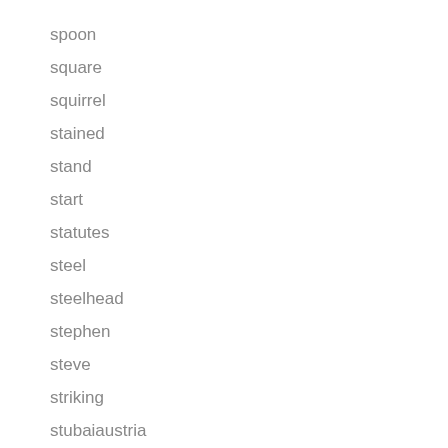spoon
square
squirrel
stained
stand
start
statutes
steel
steelhead
stephen
steve
striking
stubaiaustria
stunning
super
superb